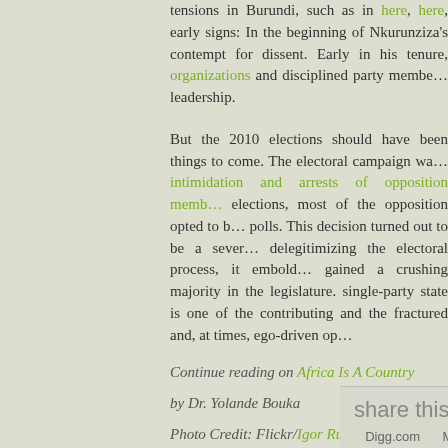tensions in Burundi, such as in here, here, early signs: In the beginning of Nkurunziza's contempt for dissent. Early in his tenure, organizations and disciplined party members leadership.
But the 2010 elections should have been things to come. The electoral campaign was intimidation and arrests of opposition members elections, most of the opposition opted to boycott polls. This decision turned out to be a severe delegitimizing the electoral process, it emboldened gained a crushing majority in the legislature. single-party state is one of the contributing and the fractured and, at times, ego-driven opposition.
Continue reading on Africa Is A Country
by Dr. Yolande Bouka
Photo Credit: Flickr/Igor Rugwiza
share this
Digg.com   Mixx.com   Technorati